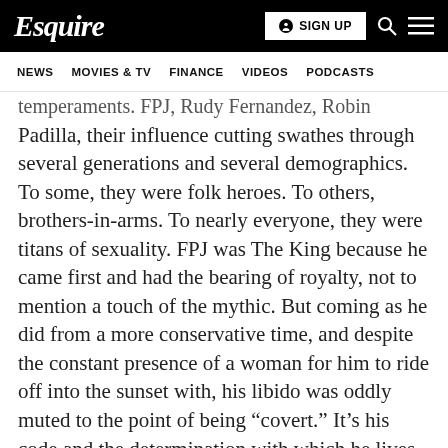Esquire | SIGN UP
NEWS   MOVIES & TV   FINANCE   VIDEOS   PODCASTS
temperaments. FPJ, Rudy Fernandez, Robin Padilla, their influence cutting swathes through several generations and several demographics. To some, they were folk heroes. To others, brothers-in-arms. To nearly everyone, they were titans of sexuality. FPJ was The King because he came first and had the bearing of royalty, not to mention a touch of the mythic. But coming as he did from a more conservative time, and despite the constant presence of a woman for him to ride off into the sunset with, his libido was oddly muted to the point of being “covert.” It’s his code and the determination with which he lives by it that you